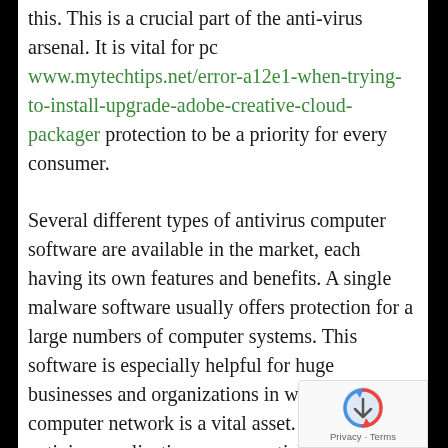this. This is a crucial part of the anti-virus arsenal. It is vital for pc www.mytechtips.net/error-a12e1-when-trying-to-install-upgrade-adobe-creative-cloud-packager protection to be a priority for every consumer.
Several different types of antivirus computer software are available in the market, each having its own features and benefits. A single malware software usually offers protection for a large numbers of computer systems. This software is especially helpful for huge businesses and organizations in which the computer network is a vital asset. Hence, antivirus applications are essential for corporations that cope with SSL VPN remote gain access to and network access control products. Therefore , you should always ensure that your antivirus is up-to-date before utilizing it